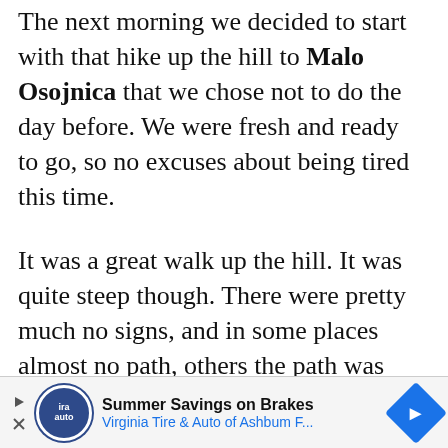The next morning we decided to start with that hike up the hill to Malo Osojnica that we chose not to do the day before. We were fresh and ready to go, so no excuses about being tired this time.
It was a great walk up the hill. It was quite steep though. There were pretty much no signs, and in some places almost no path, others the path was obstructed by fallen trees, but just when we thought we had no idea where we were going, we finally found the view point over Lake Bled! We were able to look down and see that iconic view of the island in the middle of the lake
[Figure (other): Advertisement banner: Summer Savings on Brakes - Virginia Tire & Auto of Ashbum F... with ira auto logo and blue diamond arrow icon]